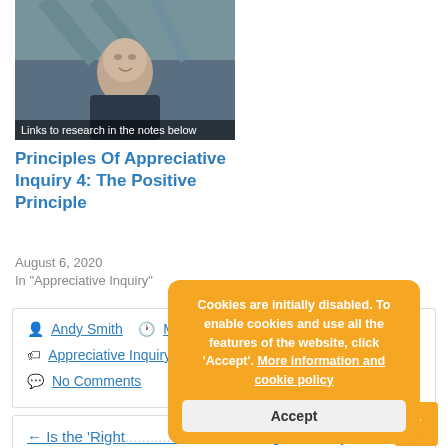[Figure (photo): Video thumbnail showing a person speaking, with text overlay 'Links to research in the notes below']
Principles Of Appreciative Inquiry 4: The Positive Principle
August 6, 2020
In "Appreciative Inquiry"
Andy Smith   May 25, 2022
Appreciative Inquiry, Appreciative Interviews
No Comments
← Is the 'Right' Management Style? → How to Reduce Misunderstandings at Work →
Cookies are initially disabled. To enable cookies and use all the features of the website, click 'Accept'. More information and cookie policy
Accept